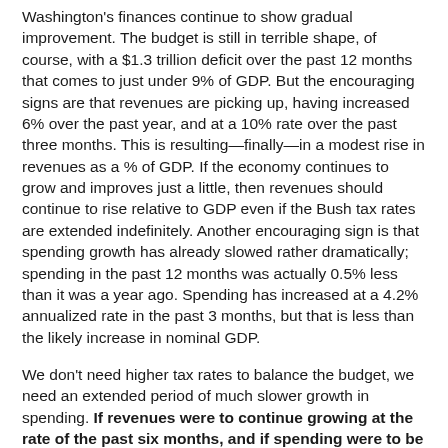Washington's finances continue to show gradual improvement. The budget is still in terrible shape, of course, with a $1.3 trillion deficit over the past 12 months that comes to just under 9% of GDP. But the encouraging signs are that revenues are picking up, having increased 6% over the past year, and at a 10% rate over the past three months. This is resulting—finally—in a modest rise in revenues as a % of GDP. If the economy continues to grow and improves just a little, then revenues should continue to rise relative to GDP even if the Bush tax rates are extended indefinitely. Another encouraging sign is that spending growth has already slowed rather dramatically; spending in the past 12 months was actually 0.5% less than it was a year ago. Spending has increased at a 4.2% annualized rate in the past 3 months, but that is less than the likely increase in nominal GDP.
We don't need higher tax rates to balance the budget, we need an extended period of much slower growth in spending. If revenues were to continue growing at the rate of the past six months, and if spending were to be frozen at current levels, the budget would be balanced within 5 years, with revenues and spending likely to be